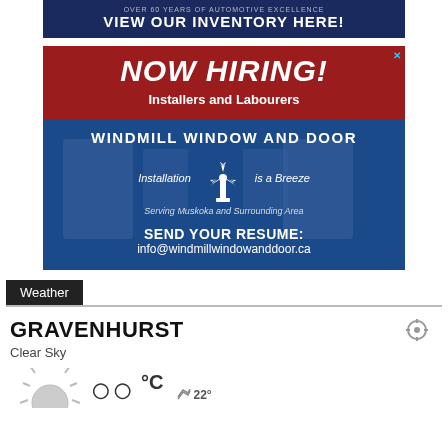[Figure (other): Dark blue banner advertisement with text 'OVER 60 YEARS OF AUTOMOTIVE EXCELLENCE' and 'VIEW OUR INVENTORY HERE!']
[Figure (other): Job advertisement for Windmill Window and Door. Red top section: 'NOW HIRING! Installers and Labourers'. Blue bottom section: 'WINDMILL WINDOW AND DOOR', 'Installation is a Breeze', windmill logo, 'Serving Muskoka and Surrounding Area', 'SEND YOUR RESUME: info@windmillwindowanddoor.ca']
Weather
GRAVENHURST
Clear Sky
22°